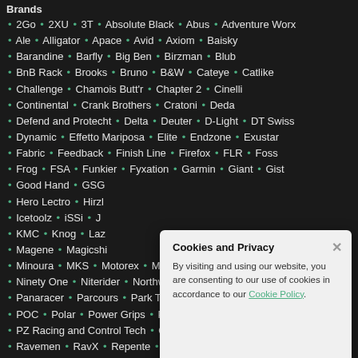Brands
2Go • 2XU • 3T • Absolute Black • Abus • Adventure Worx
Ale • Alligator • Apace • Avid • Axiom • Baisky
Barandine • Barfly • Big Ben • Birzman • Blub
BnB Rack • Brooks • Bruno • B&W • Cateye • Catlike
Challenge • Chamois Butt'r • Chapter 2 • Cinelli
Continental • Crank Brothers • Cratoni • Deda
Defend and Protecht • Delta • Deuter • D-Light • DT Swiss
Dynamic • Effetto Mariposa • Elite • Endzone • Exustar
Fabric • Feedback • Finish Line • Firefox • FLR • Foss
Frog • FSA • Funkier • Fyxation • Garmin • Giant • Gist
Good Hand • GSG
Hero Lectro • Hirzl
Icetoolz • iSSi
KMC • Knog • Laz
Magene • Magicshi
Minoura • MKS • Motorex • Mr. Tuffy • Muc Off
Ninety One • Niterider • Northwave • ORP • Ortileb
Panaracer • Parcours • Park Tool • Pirelli • Planet Bike
POC • Polar • Power Grips • Progold • Prologo
PZ Racing and Control Tech • Quad Lock • Raceone
Ravemen • RavX • Repente • Restrap • RhinoDillos
[Figure (other): Cookie and Privacy popup dialog with close button (×). Text: By visiting and using our website, you are consenting to our use of cookies in accordance to our Cookie Policy.]